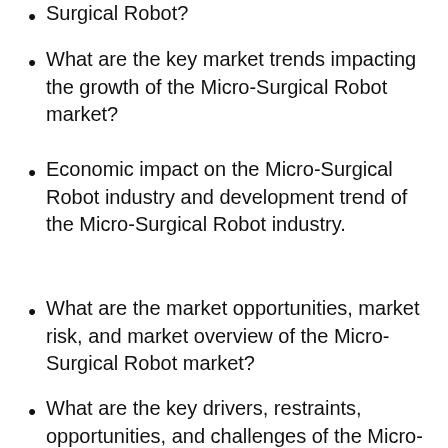Surgical Robot?
What are the key market trends impacting the growth of the Micro-Surgical Robot market?
Economic impact on the Micro-Surgical Robot industry and development trend of the Micro-Surgical Robot industry.
What are the market opportunities, market risk, and market overview of the Micro-Surgical Robot market?
What are the key drivers, restraints, opportunities, and challenges of the Micro-Surgical Robot market, and how they are expected to impact the market?